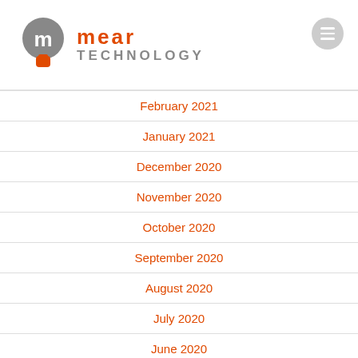mear TECHNOLOGY
February 2021
January 2021
December 2020
November 2020
October 2020
September 2020
August 2020
July 2020
June 2020